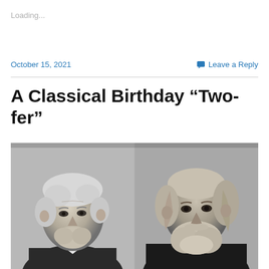Loading...
October 15, 2021
Leave a Reply
A Classical Birthday “Two-fer”
[Figure (photo): Black and white side-by-side portrait photographs of two bearded classical composers, left figure with white hair and shorter beard, right figure with longer beard and bow tie, against a grey background.]